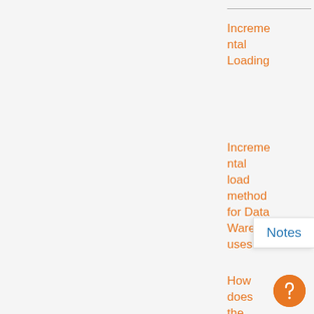Incremental Loading
Incremental load method for Data Warehouses
How does the scheduler service work?
Create an
Notes